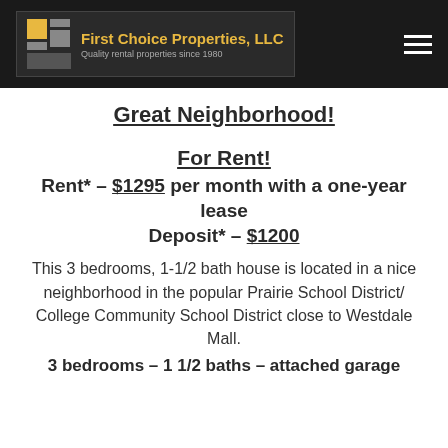[Figure (logo): First Choice Properties, LLC logo with yellow and gray tile icon, dark background, tagline 'Quality rental properties since 1980']
Great Neighborhood!
For Rent!
Rent* – $1295 per month with a one-year lease
Deposit* – $1200
This 3 bedrooms, 1-1/2 bath house is located in a nice neighborhood in the popular Prairie School District/ College Community School District close to Westdale Mall.
3 bedrooms – 1 1/2 baths – attached garage